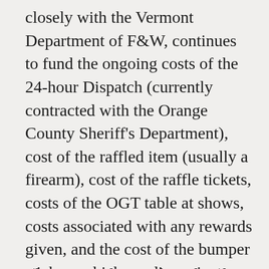closely with the Vermont Department of F&W, continues to fund the ongoing costs of the 24-hour Dispatch (currently contracted with the Orange County Sheriff's Department), cost of the raffled item (usually a firearm), cost of the raffle tickets, costs of the OGT table at shows, costs associated with any rewards given, and the cost of the bumper stickers which we disseminate freely at these shows that advertises OGT and the number to call (image of Bumper Sticker is shown above).
The OGT Advisory board...